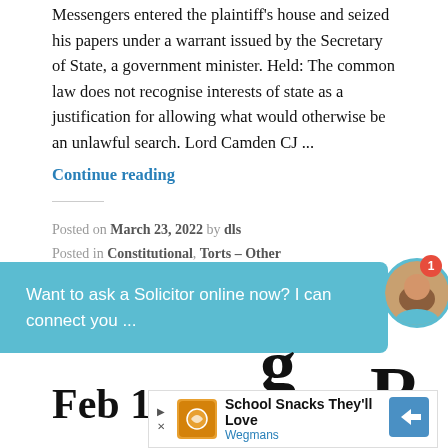Messengers entered the plaintiff's house and seized his papers under a warrant issued by the Secretary of State, a government minister. Held: The common law does not recognise interests of state as a justification for allowing what would otherwise be an unlawful search. Lord Camden CJ ...
Continue reading
Posted on March 23, 2022 by dls
Posted in Constitutional, Torts – Other
1 Comment
[Figure (screenshot): Chat widget overlay with text 'Want to ask a Solicitor online now? I can connect you ...' on a teal/cyan background, with a circular avatar photo of a woman and a red notification badge showing '1']
Feb 1986
[Figure (screenshot): Advertisement banner for Wegmans showing 'School Snacks They'll Love' with brand logo and navigation arrow]